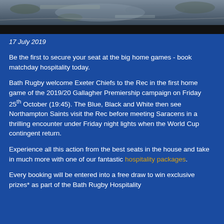[Figure (photo): Aerial photograph of a rugby stadium and surrounding area, shown in black and white/grey tones with a dark band at the bottom.]
17 July 2019
Be the first to secure your seat at the big home games - book matchday hospitality today.
Bath Rugby welcome Exeter Chiefs to the Rec in the first home game of the 2019/20 Gallagher Premiership campaign on Friday 25th October (19:45). The Blue, Black and White then see Northampton Saints visit the Rec before meeting Saracens in a thrilling encounter under Friday night lights when the World Cup contingent return.
Experience all this action from the best seats in the house and take in much more with one of our fantastic hospitality packages.
Every booking will be entered into a free draw to win exclusive prizes* as part of the Bath Rugby Hospitality